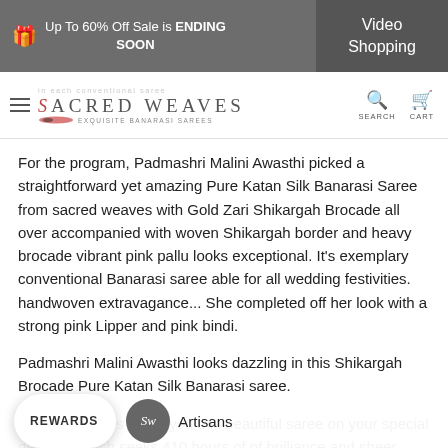Up To 60% Off Sale is ENDING SOON | Video Shopping
Sacred Weaves — Exquisite Banarasi Sarees
For the program, Padmashri Malini Awasthi picked a straightforward yet amazing Pure Katan Silk Banarasi Saree from sacred weaves with Gold Zari Shikargah Brocade all over accompanied with woven Shikargah border and heavy brocade vibrant pink pallu looks exceptional. It's exemplary conventional Banarasi saree able for all wedding festivities. handwoven extravagance... She completed off her look with a strong pink Lipper and pink bindi.
Padmashri Malini Awasthi looks dazzling in this Shikargah Brocade Pure Katan Silk Banarasi saree.
Sacred Weaves offers you this beautiful saree on your special demand which seeks 410 hours of of brilliance and sheer e... Artisans